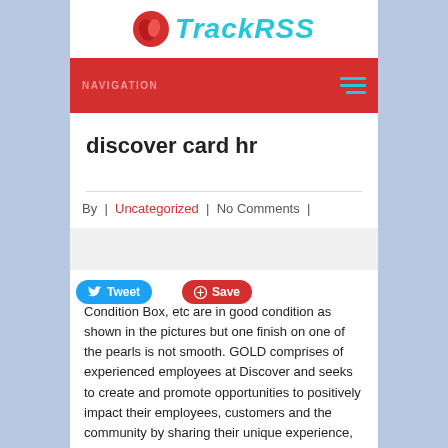[Figure (logo): TrackRSS logo with red circular icon and teal italic text]
NAVIGATION
discover card hr
By | Uncategorized | No Comments |
[Figure (other): Gray image placeholder]
Condition Box, etc are in good condition as shown in the pictures but one finish on one of the pearls is not smooth. GOLD comprises of experienced employees at Discover and seeks to create and promote opportunities to positively impact their employees, customers and the community by sharing their unique experience, knowledge and talent. 5. All Discover cards come with a suite of customer-friendly benefits, some of which you won't find anywhere else. In order to enjoy the full